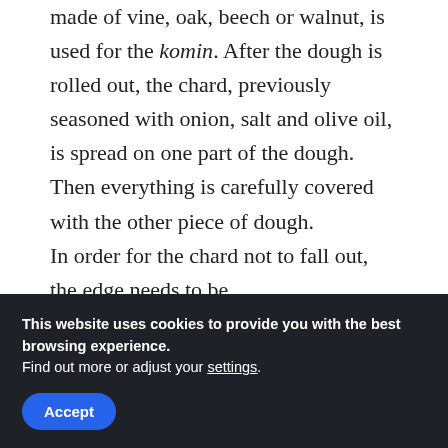made of vine, oak, beech or walnut, is used for the komin. After the dough is rolled out, the chard, previously seasoned with onion, salt and olive oil, is spread on one part of the dough. Then everything is carefully covered with the other piece of dough.

In order for the chard not to fall out, the edge needs to be
This website uses cookies to provide you with the best browsing experience.
Find out more or adjust your settings.